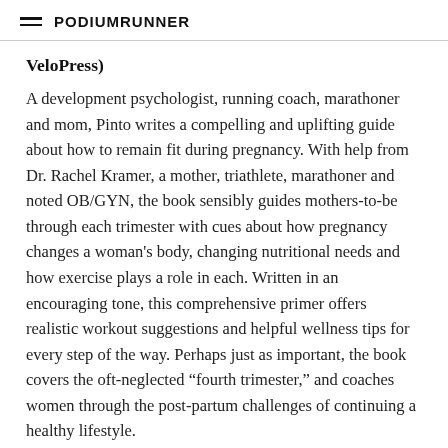PodiumRunner
VeloPress)
A development psychologist, running coach, marathoner and mom, Pinto writes a compelling and uplifting guide about how to remain fit during pregnancy. With help from Dr. Rachel Kramer, a mother, triathlete, marathoner and noted OB/GYN, the book sensibly guides mothers-to-be through each trimester with cues about how pregnancy changes a woman's body, changing nutritional needs and how exercise plays a role in each. Written in an encouraging tone, this comprehensive primer offers realistic workout suggestions and helpful wellness tips for every step of the way. Perhaps just as important, the book covers the oft-neglected “fourth trimester,” and coaches women through the post-partum challenges of continuing a healthy lifestyle.